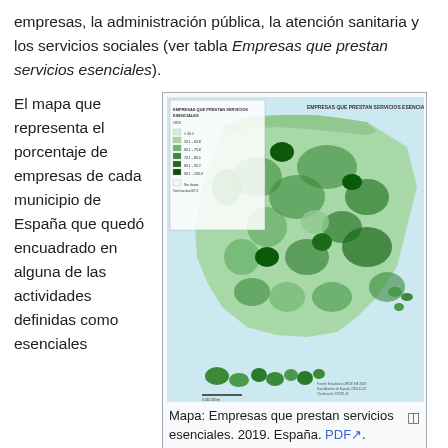empresas, la administración pública, la atención sanitaria y los servicios sociales (ver tabla Empresas que prestan servicios esenciales).
El mapa que representa el porcentaje de empresas de cada municipio de España que quedó encuadrado en alguna de las actividades definidas como esenciales refleja de manera muy precisa la trascendencia de estas ramas económicas. Los datos disponibles indican que el 67,3% de las empresas y el 74,1% de las personas empleadas en
[Figure (map): Choropleth map of Spain showing percentage of companies in each municipality engaged in essential services activities in 2019. Municipalities are colored in shades of green from light to dark, with a legend showing ranges. Title: EMPRESAS QUE PRESTAN SERVICIOS ESENCIALES.]
Mapa: Empresas que prestan servicios esenciales. 2019. España. PDF. Datos Versión interactiva.